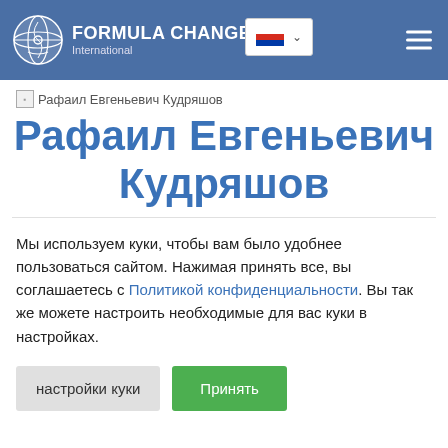FORMULA CHANGE International
[Figure (screenshot): Broken image placeholder for Рафаил Евгеньевич Кудряшов profile photo]
Рафаил Евгеньевич Кудряшов
Мы используем куки, чтобы вам было удобнее пользоваться сайтом. Нажимая принять все, вы соглашаетесь с Политикой конфиденциальности. Вы так же можете настроить необходимые для вас куки в настройках.
настройки куки | Принять